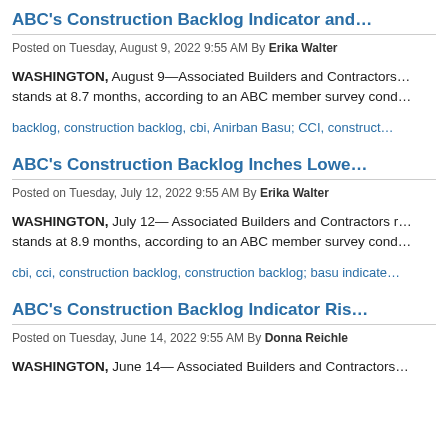ABC's Construction Backlog Indicator and…
Posted on Tuesday, August 9, 2022 9:55 AM By Erika Walter
WASHINGTON, August 9—Associated Builders and Contractors… stands at 8.7 months, according to an ABC member survey cond…
backlog, construction backlog, cbi, Anirban Basu; CCI, construct…
ABC's Construction Backlog Inches Lowe…
Posted on Tuesday, July 12, 2022 9:55 AM By Erika Walter
WASHINGTON, July 12— Associated Builders and Contractors r… stands at 8.9 months, according to an ABC member survey cond…
cbi, cci, construction backlog, construction backlog; basu indicate…
ABC's Construction Backlog Indicator Ris…
Posted on Tuesday, June 14, 2022 9:55 AM By Donna Reichle
WASHINGTON, June 14— Associated Builders and Contractors…